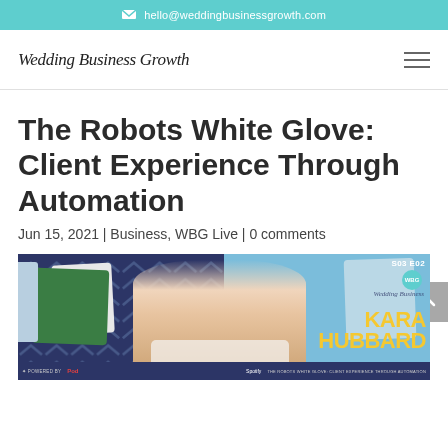✉ hello@weddingbusinessgrowth.com
[Figure (logo): Wedding Business Growth script logo and hamburger menu icon]
The Robots White Glove: Client Experience Through Automation
Jun 15, 2021 | Business, WBG Live | 0 comments
[Figure (photo): Photo of Kara Hubbard seated in front of decorative pillows, with podcast episode branding overlay showing S03 E02 and WBG logo. Name 'Kara Hubbard' displayed in large yellow text. Bottom banner reads 'The Robots White Glove: Client Experience Through Automation'. Powered by and Spotify logos visible.]